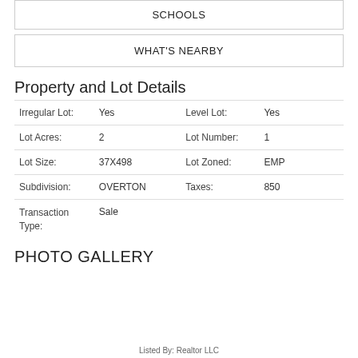SCHOOLS
WHAT'S NEARBY
Property and Lot Details
| Irregular Lot: | Yes | Level Lot: | Yes |
| Lot Acres: | 2 | Lot Number: | 1 |
| Lot Size: | 37X498 | Lot Zoned: | EMP |
| Subdivision: | OVERTON | Taxes: | 850 |
| Transaction Type: | Sale |  |  |
PHOTO GALLERY
Listed By: Realtor LLC